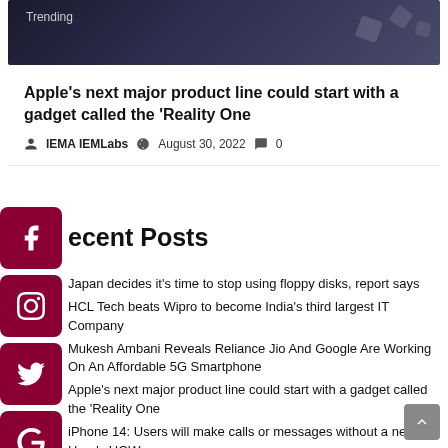[Figure (photo): Dark-themed trending image banner with 'Trending' label overlay]
Apple’s next major product line could start with a gadget called the ‘Reality One
IEMA IEMLabs  ·  August 30, 2022  ·  0
Recent Posts
Japan decides it’s time to stop using floppy disks, report says
HCL Tech beats Wipro to become India’s third largest IT Company
Mukesh Ambani Reveals Reliance Jio And Google Are Working On An Affordable 5G Smartphone
Apple’s next major product line could start with a gadget called the ‘Reality One
iPhone 14: Users will make calls or messages without a network, Here’s HOW